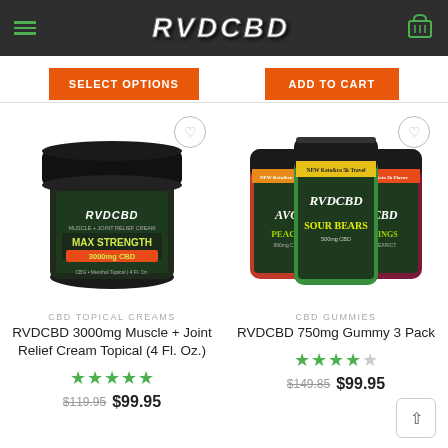RVDCBD
SELECT OPTIONS
ADD TO CART
[Figure (photo): RVDCBD 3000mg Muscle + Joint Relief Cream Topical jar, dark green label, MAX STRENGTH]
[Figure (photo): RVDCBD 750mg Gummy 3 Pack - three dark containers with Peach, Sour Bears, and Rings flavors]
CBD TOPICAL CREAMS
RVDCBD 3000mg Muscle + Joint Relief Cream Topical (4 Fl. Oz.)
CBD GUMMIES
RVDCBD 750mg Gummy 3 Pack
$119.95  $99.95
$149.85  $99.95